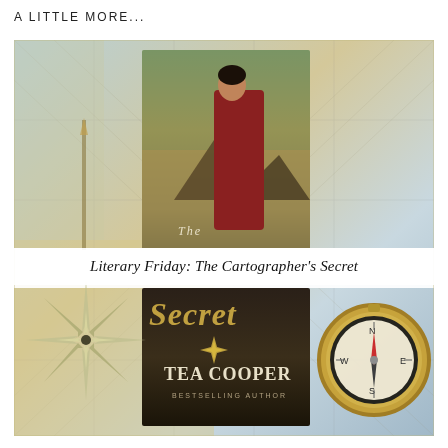A LITTLE MORE...
[Figure (illustration): A collaged book cover image for 'The Cartographer's Secret' by Tea Cooper, showing a woman in a Victorian-era red dress viewed from the side, standing before a landscape with mountains. The bottom portion of the cover shows the word 'SECRET' in large letters, 'TEA COOPER' as the author name, and 'BESTSELLING AUTHOR' below. The background is a vintage map texture with a decorative compass rose on the lower left and a gold pocket compass on the lower right.]
Literary Friday: The Cartographer's Secret